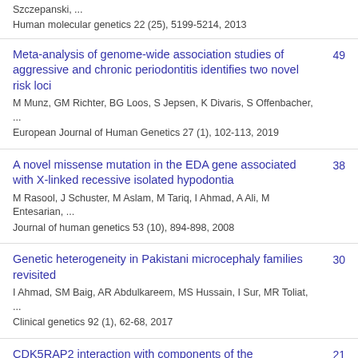Szczepanski, ...
Human molecular genetics 22 (25), 5199-5214, 2013
Meta-analysis of genome-wide association studies of aggressive and chronic periodontitis identifies two novel risk loci
M Munz, GM Richter, BG Loos, S Jepsen, K Divaris, S Offenbacher, ...
European Journal of Human Genetics 27 (1), 102-113, 2019
49
A novel missense mutation in the EDA gene associated with X-linked recessive isolated hypodontia
M Rasool, J Schuster, M Aslam, M Tariq, I Ahmad, A Ali, M Entesarian, ...
Journal of human genetics 53 (10), 894-898, 2008
38
Genetic heterogeneity in Pakistani microcephaly families revisited
I Ahmad, SM Baig, AR Abdulkareem, MS Hussain, I Sur, MR Toliat, ...
Clinical genetics 92 (1), 62-68, 2017
30
CDK5RAP2 interaction with components of the
21